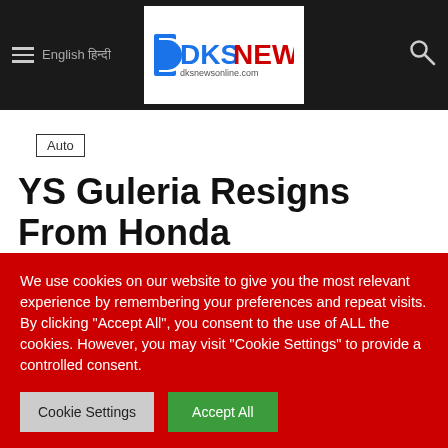English हिन्दी | DKS NEWS dksnewsonline.com
Auto
YS Guleria Resigns From Honda Motorcycle And Scooter India
By devanandsingh9199 - May 17, 2022  50  0
We use cookies on our website to give you the most relevant experience by remembering your preferences and repeat visits. By clicking "Accept All", you consent to the use of ALL the cookies. However, you may visit "Cookie Settings" to provide a controlled consent.